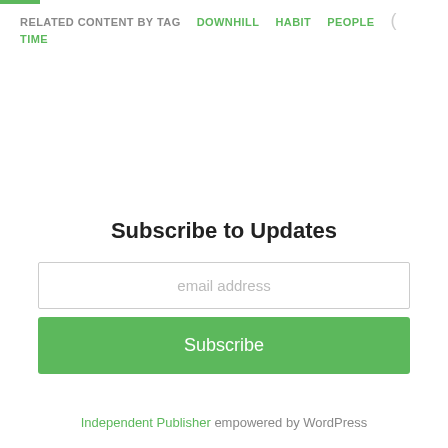RELATED CONTENT BY TAG   DOWNHILL   HABIT   PEOPLE   TIME
Subscribe to Updates
email address
Subscribe
Independent Publisher empowered by WordPress